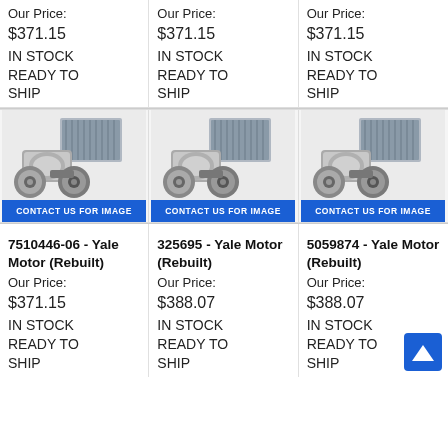Our Price:
$371.15
IN STOCK
READY TO
SHIP
Our Price:
$371.15
IN STOCK
READY TO
SHIP
Our Price:
$371.15
IN STOCK
READY TO
SHIP
[Figure (photo): Yale Motor (Rebuilt) product image with 'CONTACT US FOR IMAGE' banner]
[Figure (photo): Yale Motor (Rebuilt) product image with 'CONTACT US FOR IMAGE' banner]
[Figure (photo): Yale Motor (Rebuilt) product image with 'CONTACT US FOR IMAGE' banner]
7510446-06 - Yale Motor (Rebuilt)
Our Price:
$371.15
IN STOCK
READY TO
SHIP
325695 - Yale Motor (Rebuilt)
Our Price:
$388.07
IN STOCK
READY TO
SHIP
5059874 - Yale Motor (Rebuilt)
Our Price:
$388.07
IN STOCK
READY TO
SHIP